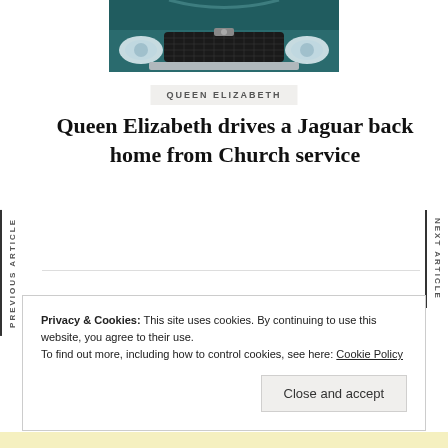[Figure (photo): Close-up front view of a dark green Jaguar car showing the grille and headlights]
QUEEN ELIZABETH
Queen Elizabeth drives a Jaguar back home from Church service
PREVIOUS ARTICLE
NEXT ARTICLE
Privacy & Cookies: This site uses cookies. By continuing to use this website, you agree to their use.
To find out more, including how to control cookies, see here: Cookie Policy
Close and accept